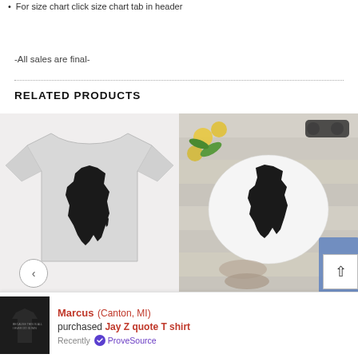For size chart click size chart tab in header
-All sales are final-
RELATED PRODUCTS
[Figure (photo): Gray t-shirt with black Africa map silhouette printed on front]
[Figure (photo): White t-shirt with black Africa map silhouette, laid flat next to yellow flowers, sunglasses, sandals, and jeans]
Marcus (Canton, MI) purchased Jay Z quote T shirt Recently ProveSource